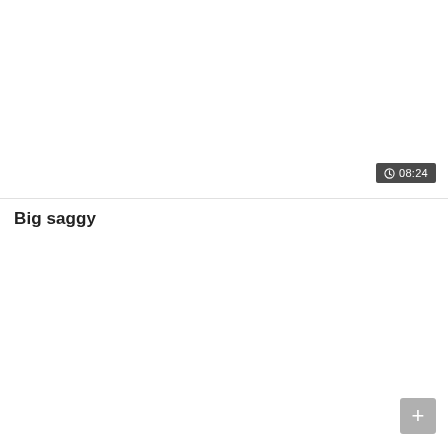[Figure (screenshot): A UI screen showing a video or media item with a time duration badge displaying 08:24 in the upper right area, and a title bar below reading 'Big saggy', with a plus/add button in the lower right corner.]
08:24
Big saggy